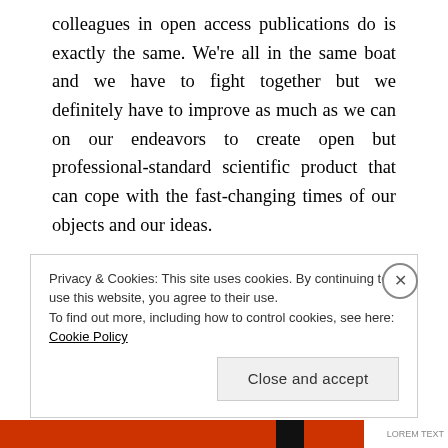colleagues in open access publications do is exactly the same. We're all in the same boat and we have to fight together but we definitely have to improve as much as we can on our endeavors to create open but professional-standard scientific product that can cope with the fast-changing times of our objects and our ideas.

Anyway, the article is called Ethnography and the Field in Media(ted) Studies: A Practice Theory Approach (coauthored with Elisenda Ardèvol) and it's
Privacy & Cookies: This site uses cookies. By continuing to use this website, you agree to their use.
To find out more, including how to control cookies, see here: Cookie Policy
Close and accept